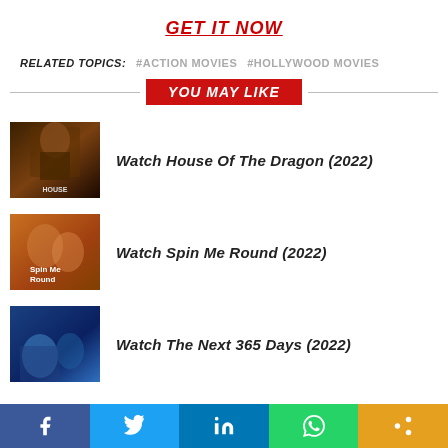GET IT NOW
RELATED TOPICS: #ACTION MOVIES #HOLLYWOOD MOVIES
YOU MAY LIKE
Watch House Of The Dragon (2022)
Watch Spin Me Round (2022)
Watch The Next 365 Days (2022)
[Figure (other): Social share bar with Facebook, Twitter, LinkedIn, WhatsApp, and share buttons]